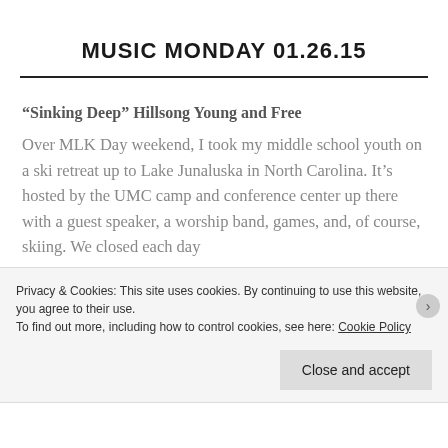MUSIC MONDAY 01.26.15
“Sinking Deep” Hillsong Young and Free
Over MLK Day weekend, I took my middle school youth on a ski retreat up to Lake Junaluska in North Carolina. It’s hosted by the UMC camp and conference center up there with a guest speaker, a worship band, games, and, of course, skiing. We closed each day
Privacy & Cookies: This site uses cookies. By continuing to use this website, you agree to their use.
To find out more, including how to control cookies, see here: Cookie Policy
Close and accept